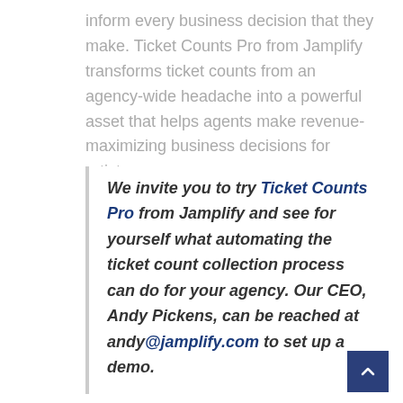inform every business decision that they make. Ticket Counts Pro from Jamplify transforms ticket counts from an agency-wide headache into a powerful asset that helps agents make revenue-maximizing business decisions for artists.
We invite you to try Ticket Counts Pro from Jamplify and see for yourself what automating the ticket count collection process can do for your agency. Our CEO, Andy Pickens, can be reached at andy@jamplify.com to set up a demo.